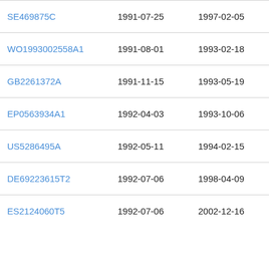| Patent Number | Filing Date | Publication Date | Assignee |
| --- | --- | --- | --- |
| SE469875C | 1991-07-25 | 1997-02-05 | Pro |
| WO1993002558A1 | 1991-08-01 | 1993-02-18 | Bio |
| GB2261372A | 1991-11-15 | 1993-05-19 | Gre |
| EP0563934A1 | 1992-04-03 | 1993-10-06 | Dr. |
| US5286495A | 1992-05-11 | 1994-02-15 | Uni |
| DE69223615T2 | 1992-07-06 | 1998-04-09 | Ne: |
| ES2124060T5 | 1992-07-06 | 2002-12-16 | Ne: |